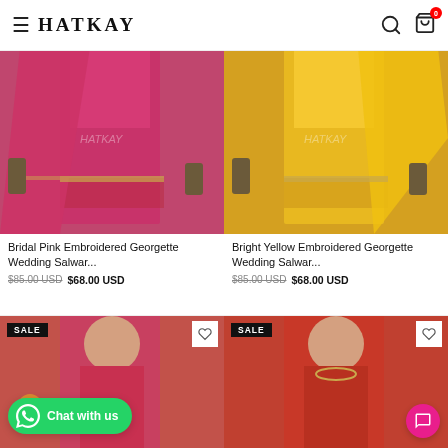HATKAY
[Figure (photo): Bridal Pink Embroidered Georgette Wedding Salwar suit product photo]
Bridal Pink Embroidered Georgette Wedding Salwar...
$85.00 USD  $68.00 USD
[Figure (photo): Bright Yellow Embroidered Georgette Wedding Salwar suit product photo]
Bright Yellow Embroidered Georgette Wedding Salwar...
$85.00 USD  $68.00 USD
[Figure (photo): Bottom-left product photo with SALE badge, partial view of red embroidered salwar]
[Figure (photo): Bottom-right product photo with SALE badge, partial view of red embroidered salwar]